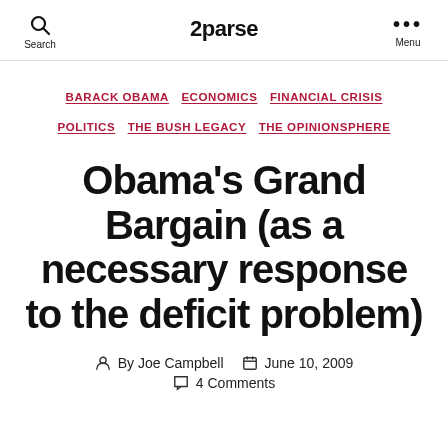Search  2parse  Menu
BARACK OBAMA  ECONOMICS  FINANCIAL CRISIS  POLITICS  THE BUSH LEGACY  THE OPINIONSPHERE
Obama's Grand Bargain (as a necessary response to the deficit problem)
By Joe Campbell  June 10, 2009  4 Comments